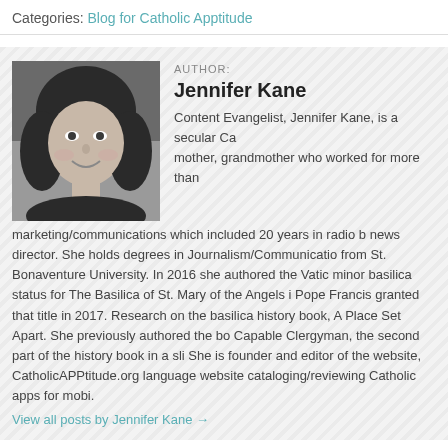Categories: Blog for Catholic Apptitude
[Figure (photo): Black and white headshot photo of Jennifer Kane, a woman smiling]
AUTHOR:
Jennifer Kane
Content Evangelist, Jennifer Kane, is a secular Ca... mother, grandmother who worked for more than... marketing/communications which included 20 years in radio b... news director. She holds degrees in Journalism/Communicatio... from St. Bonaventure University. In 2016 she authored the Vatic... minor basilica status for The Basilica of St. Mary of the Angels i... Pope Francis granted that title in 2017. Research on the basilica... history book, A Place Set Apart. She previously authored the bo... Capable Clergyman, the second part of the history book in a sli... She is founder and editor of the website, CatholicAPPtitude.org... language website cataloging/reviewing Catholic apps for mobi...
View all posts by Jennifer Kane →